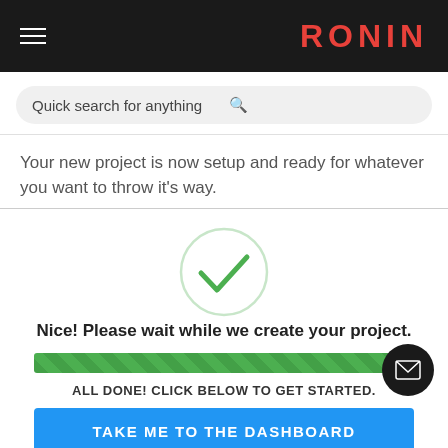RONIN
Quick search for anything
Your new project is now setup and ready for whatever you want to throw it's way.
[Figure (illustration): Green checkmark inside a light green circle, indicating success or completion]
Nice! Please wait while we create your project.
[Figure (infographic): A full green progress bar with diagonal stripe pattern indicating 100% completion]
ALL DONE! CLICK BELOW TO GET STARTED.
TAKE ME TO THE DASHBOARD